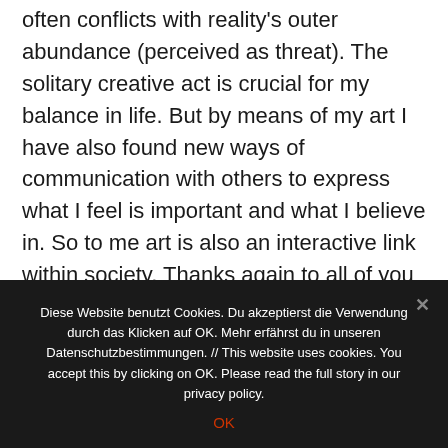often conflicts with reality's outer abundance (perceived as threat). The solitary creative act is crucial for my balance in life. But by means of my art I have also found new ways of communication with others to express what I feel is important and what I believe in. So to me art is also an interactive link within society. Thanks again to all of you who involve in this kind of communication with me!
>> Please like, comment, share.
Diese Website benutzt Cookies. Du akzeptierst die Verwendung durch das Klicken auf OK. Mehr erfährst du in unseren Datenschutzbestimmungen. // This website uses cookies. You accept this by clicking on OK. Please read the full story in our privacy policy.
OK